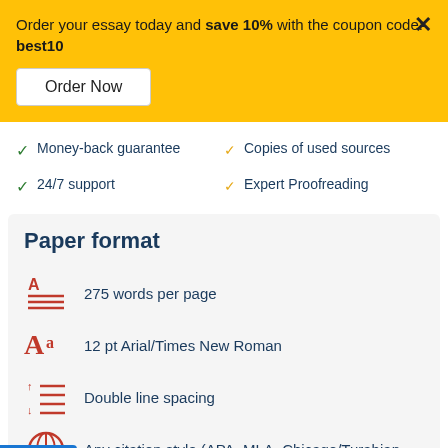Order your essay today and save 10% with the coupon code: best10
Order Now
Money-back guarantee
24/7 support
Copies of used sources
Expert Proofreading
Paper format
275 words per page
12 pt Arial/Times New Roman
Double line spacing
Any citation style (APA, MLA, Chicago/Turabian,
Chat